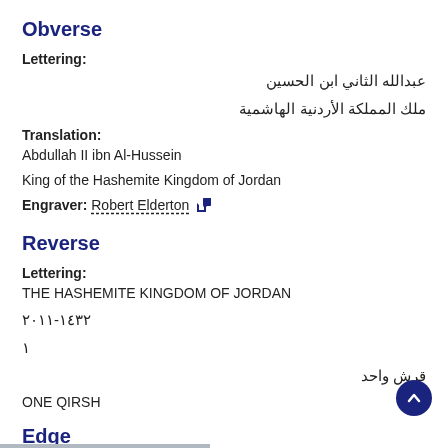Obverse
Lettering:
عبدالله الثاني ابن الحسين
ملك المملكة الأردنية الهاشمية
Translation:
Abdullah II ibn Al-Hussein
King of the Hashemite Kingdom of Jordan
Engraver: Robert Elderton
Reverse
Lettering:
THE HASHEMITE KINGDOM OF JORDAN
٢٠١١-١٤٣٢
١
قرش واحد
ONE QIRSH
Edge
Smooth